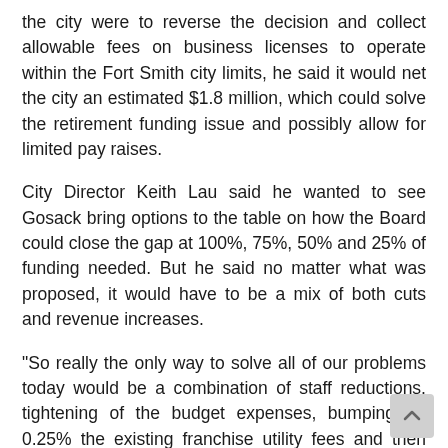the city were to reverse the decision and collect allowable fees on business licenses to operate within the Fort Smith city limits, he said it would net the city an estimated $1.8 million, which could solve the retirement funding issue and possibly allow for limited pay raises.
City Director Keith Lau said he wanted to see Gosack bring options to the table on how the Board could close the gap at 100%, 75%, 50% and 25% of funding needed. But he said no matter what was proposed, it would have to be a mix of both cuts and revenue increases.
"So really the only way to solve all of our problems today would be a combination of staff reductions, tightening of the budget expenses, bumping up 0.25% the existing franchise utility fees and then adding 4% only water and sewer and sanitation," he said, noting that the latter is not imposed a franchise fee currently.
Lau further said the combination of revenue increases and spending decreases was necessary "or we're going to lose...